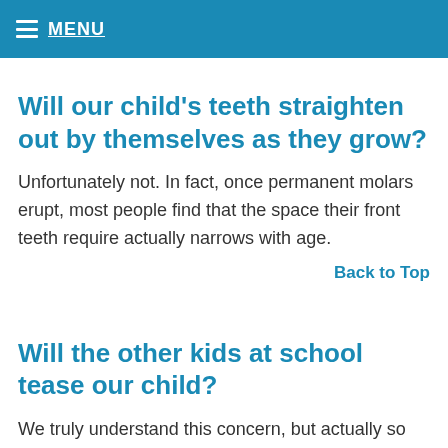≡ MENU
Will our child's teeth straighten out by themselves as they grow?
Unfortunately not. In fact, once permanent molars erupt, most people find that the space their front teeth require actually narrows with age.
Back to Top
Will the other kids at school tease our child?
We truly understand this concern, but actually so many kids wear braces these days that they see them as a rite of passage